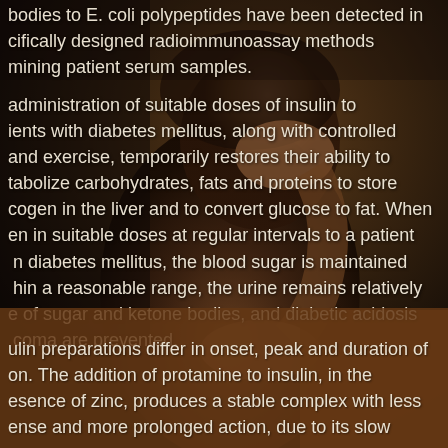[Figure (photo): Sepia-toned photograph of a distressed person covering their face with one hand, dark moody background]
bodies to E. coli polypeptides have been detected in cifically designed radioimmunoassay methods mining patient serum samples.
administration of suitable doses of insulin to ients with diabetes mellitus, along with controlled and exercise, temporarily restores their ability to tabolize carbohydrates, fats and proteins to store cogen in the liver and to convert glucose to fat. When en in suitable doses at regular intervals to a patient in diabetes mellitus, the blood sugar is maintained hin a reasonable range, the urine remains relatively e of sugar and ketone bodies, and diabetic acidosis coma are prevented.
ulin preparations differ in onset, peak and duration of on. The addition of protamine to insulin, in the esence of zinc, produces a stable complex with less ense and more prolonged action, due to its slow